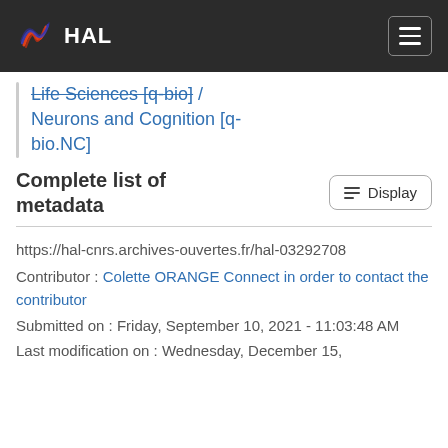HAL
Life Sciences [q-bio] / Neurons and Cognition [q-bio.NC]
Complete list of metadata
https://hal-cnrs.archives-ouvertes.fr/hal-03292708
Contributor : Colette ORANGE Connect in order to contact the contributor
Submitted on : Friday, September 10, 2021 - 11:03:48 AM
Last modification on : Wednesday, December 15,